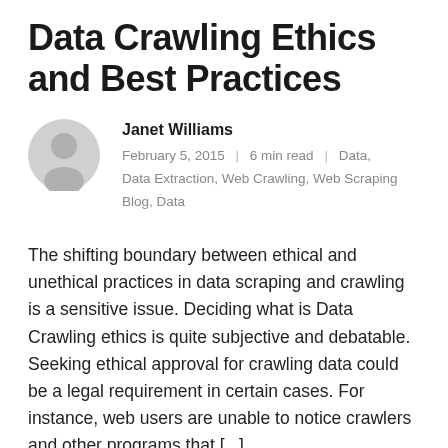Data Crawling Ethics and Best Practices
Janet Williams
February 5, 2015  |  6 min read  |  Data, Data Extraction, Web Crawling, Web Scraping Blog, Data
The shifting boundary between ethical and unethical practices in data scraping and crawling is a sensitive issue. Deciding what is Data Crawling ethics is quite subjective and debatable. Seeking ethical approval for crawling data could be a legal requirement in certain cases. For instance, web users are unable to notice crawlers and other programs that [...]